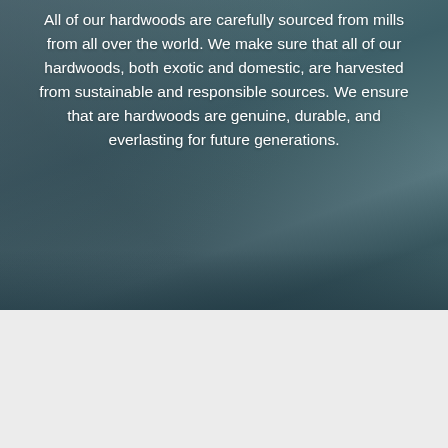[Figure (photo): Blurred background photo of what appears to be a workshop or mill interior with a blue-grey teal tint, with overlaid white text about hardwood sourcing.]
All of our hardwoods are carefully sourced from mills from all over the world. We make sure that all of our hardwoods, both exotic and domestic, are harvested from sustainable and responsible sources. We ensure that are hardwoods are genuine, durable, and everlasting for future generations.